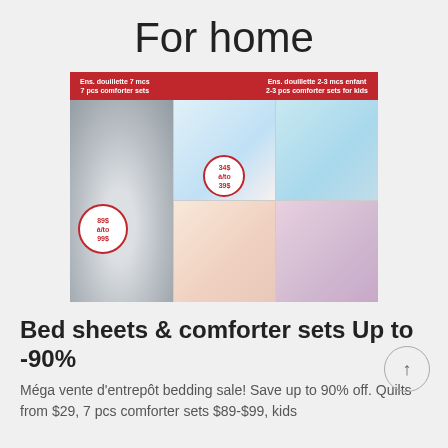For home
[Figure (photo): Retail advertisement for bed sheets and comforter sets. Red banner at top with two columns: 'Ens. douillette 7 mcs / 7 pcs comforter sets' and 'Ens. douillette 2-3 mcs enfant / 2-3 pcs comforter sets for kids'. Grid of bedroom photos showing gray adult comforter set with price badge '89$ à/to 99$' and colorful kids sets with price badge '34$ à/to 39$'.]
Bed sheets & comforter sets Up to -90%
Méga vente d'entrepôt bedding sale! Save up to 90% off. Quilts from $29, 7 pcs comforter sets $89-$99, kids